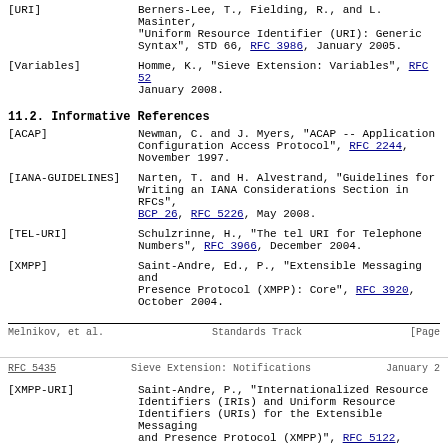[URI]   Berners-Lee, T., Fielding, R., and L. Masinter, "Uniform Resource Identifier (URI): Generic Syntax", STD 66, RFC 3986, January 2005.
[Variables]   Homme, K., "Sieve Extension: Variables", RFC 5229, January 2008.
11.2.  Informative References
[ACAP]   Newman, C. and J. Myers, "ACAP -- Application Configuration Access Protocol", RFC 2244, November 1997.
[IANA-GUIDELINES]   Narten, T. and H. Alvestrand, "Guidelines for Writing an IANA Considerations Section in RFCs", BCP 26, RFC 5226, May 2008.
[TEL-URI]   Schulzrinne, H., "The tel URI for Telephone Numbers", RFC 3966, December 2004.
[XMPP]   Saint-Andre, Ed., P., "Extensible Messaging and Presence Protocol (XMPP): Core", RFC 3920, October 2004.
Melnikov, et al.    Standards Track    [Page
RFC 5435    Sieve Extension: Notifications    January 2
[XMPP-URI]   Saint-Andre, P., "Internationalized Resource Identifiers (IRIs) and Uniform Resource Identifiers (URIs) for the Extensible Messaging and Presence Protocol (XMPP)", RFC 5122,